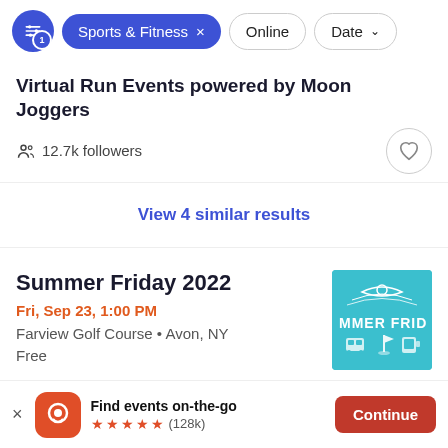[Figure (screenshot): Filter bar with active Sports & Fitness pill, Online and Date filter buttons]
Virtual Run Events powered by Moon Joggers
12.7k followers
View 4 similar results
Summer Friday 2022
Fri, Sep 23, 1:00 PM
Farview Golf Course • Avon, NY
Free
[Figure (logo): Summer Friday 2022 event thumbnail - teal background with MMER FRID text and event icons]
Find events on-the-go ★★★★★ (128k)
Continue